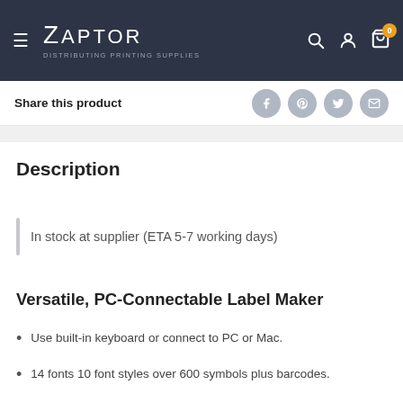Zaptor — Distributing Printing Supplies
Share this product
Description
In stock at supplier (ETA 5-7 working days)
Versatile, PC-Connectable Label Maker
Use built-in keyboard or connect to PC or Mac.
14 fonts 10 font styles over 600 symbols plus barcodes.